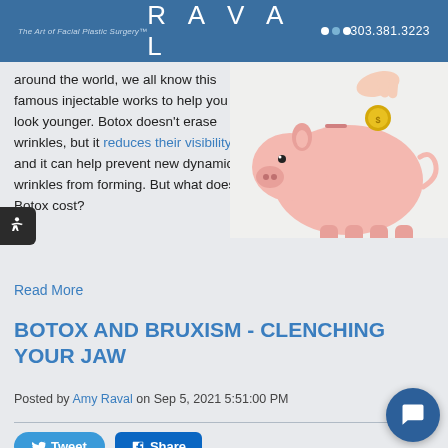The Art of Facial Plastic Surgery™   RAVAL   303.381.3223
around the world, we all know this famous injectable works to help you look younger. Botox doesn't erase wrinkles, but it reduces their visibility and it can help prevent new dynamic wrinkles from forming. But what does Botox cost?
[Figure (photo): Pink piggy bank with a gold coin being dropped in, on white background]
Read More
BOTOX AND BRUXISM - CLENCHING YOUR JAW
Posted by Amy Raval on Sep 5, 2021 5:51:00 PM